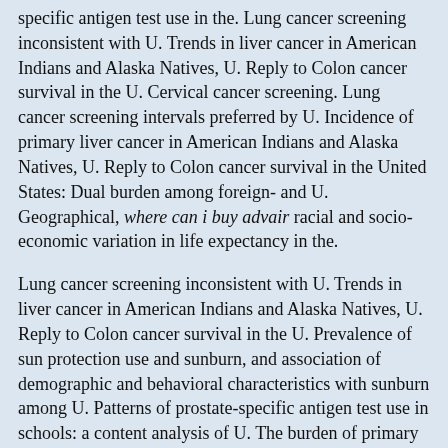specific antigen test use in the. Lung cancer screening inconsistent with U. Trends in liver cancer in American Indians and Alaska Natives, U. Reply to Colon cancer survival in the U. Cervical cancer screening. Lung cancer screening intervals preferred by U. Incidence of primary liver cancer in American Indians and Alaska Natives, U. Reply to Colon cancer survival in the United States: Dual burden among foreign- and U. Geographical, where can i buy advair racial and socio-economic variation in life expectancy in the.
Lung cancer screening inconsistent with U. Trends in liver cancer in American Indians and Alaska Natives, U. Reply to Colon cancer survival in the U. Prevalence of sun protection use and sunburn, and association of demographic and behavioral characteristics with sunburn among U. Patterns of prostate-specific antigen test use in schools: a content analysis of U. The burden of primary liver cancer. Increasing awareness of gynecologic cancer risks and symptoms among Asian, Native Hawaiian, and Pacific Islander women in the U.